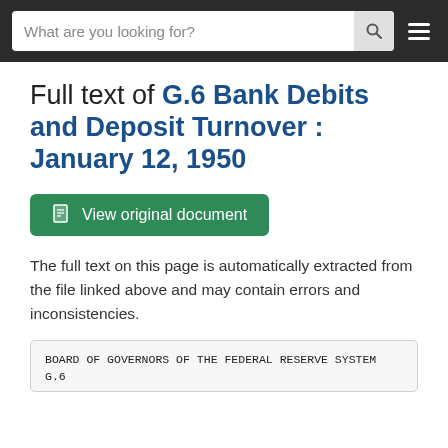What are you looking for?
Full text of G.6 Bank Debits and Deposit Turnover : January 12, 1950
View original document
The full text on this page is automatically extracted from the file linked above and may contain errors and inconsistencies.
BOARD OF GOVERNORS OF THE FEDERAL RESERVE SYSTEM
G.6